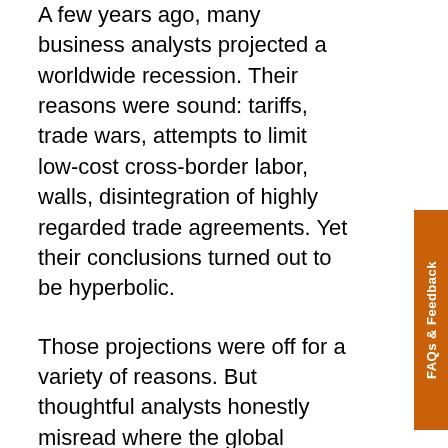A few years ago, many business analysts projected a worldwide recession. Their reasons were sound: tariffs, trade wars, attempts to limit low-cost cross-border labor, walls, disintegration of highly regarded trade agreements. Yet their conclusions turned out to be hyperbolic.
Those projections were off for a variety of reasons. But thoughtful analysts honestly misread where the global economy was headed based on historical data and the millions of data points they had to wrap their heads around.
Here's an example. Two years ago, IL hosted a supply chain summit attended by Mexican business leaders and others heavily invested in U.S.-Mexico trade. The backdrop was an impending Mexican election where avowed Socialist Andrés Manuel López Obrador was projected to win, while the U.S. president pronounced